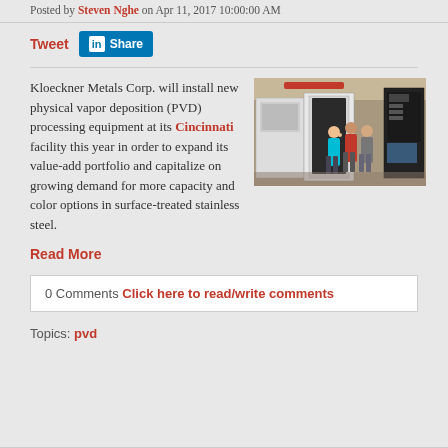Posted by Steven Nghe on Apr 11, 2017 10:00:00 AM
Tweet  Share
Kloeckner Metals Corp. will install new physical vapor deposition (PVD) processing equipment at its Cincinnati facility this year in order to expand its value-add portfolio and capitalize on growing demand for more capacity and color options in surface-treated stainless steel.
[Figure (photo): Three people standing in an industrial facility with PVD processing equipment — large white and gray metal chambers and control panels visible in the background.]
Read More
0 Comments Click here to read/write comments
Topics: pvd